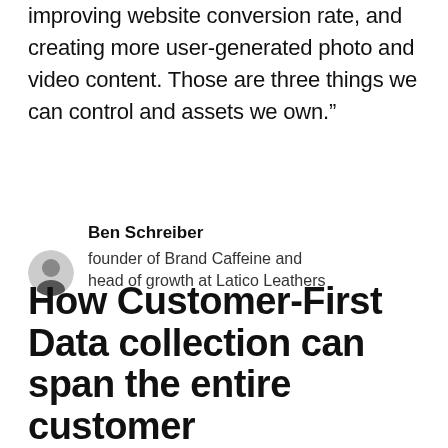improving website conversion rate, and creating more user-generated photo and video content. Those are three things we can control and assets we own.”
Ben Schreiber
founder of Brand Caffeine and head of growth at Latico Leathers
How Customer-First Data collection can span the entire customer